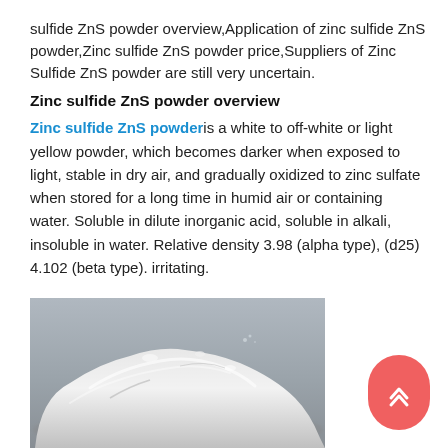sulfide ZnS powder overview,Application of zinc sulfide ZnS powder,Zinc sulfide ZnS powder price,Suppliers of Zinc Sulfide ZnS powder are still very uncertain.
Zinc sulfide ZnS powder overview
Zinc sulfide ZnS powder is a white to off-white or light yellow powder, which becomes darker when exposed to light, stable in dry air, and gradually oxidized to zinc sulfate when stored for a long time in humid air or containing water. Soluble in dilute inorganic acid, soluble in alkali, insoluble in water. Relative density 3.98 (alpha type), (d25) 4.102 (beta type). irritating.
[Figure (photo): Grayscale photo of zinc sulfide ZnS powder — a white powdery substance photographed against a gray background, showing a pile of fine white powder.]